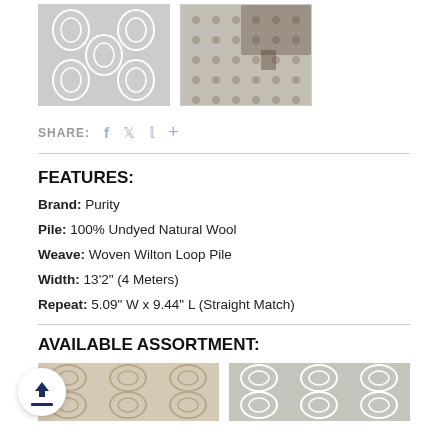[Figure (photo): Two product images of carpet/rug patterns in bordered boxes — left shows a grey damask pattern, right shows a grey geometric dot pattern in a room setting]
SHARE: f  Twitter  Pinterest  +
FEATURES:
Brand: Purity
Pile: 100% Undyed Natural Wool
Weave: Woven Wilton Loop Pile
Width: 13'2" (4 Meters)
Repeat: 5.09" W x 9.44" L (Straight Match)
AVAILABLE ASSORTMENT:
[Figure (photo): Two carpet/rug swatch images at bottom — left shows a beige/tan damask pattern, right shows a grey damask pattern]